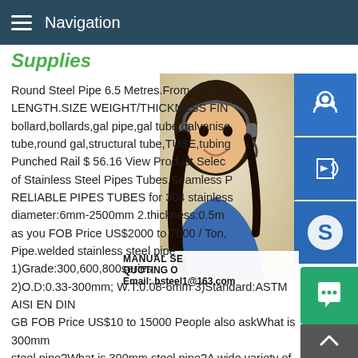Navigation
Supplies
Round Steel Pipe 6.5 Metres.From $ 28.1: LENGTH.SIZE WEIGHT/THICKNESS FIN bollard,bollards,gal pipe,gal tube,galvanise tube,round gal,structural tube,TUBE,tubing Punched Rail $ 56.16 View Product Selec of Stainless Steel Pipes Tubes,Seamless P RELIABLE PIPES TUBES for 304 stainless diameter:6mm-2500mm 2.thickness:0.5m as you FOB Price US$2000 to 7000 / Ton, Pipe.welded stainless steel pipe 1)Grade:300,600,800series 2)O.D:0.33-300mm; W.T:0.08-6mm 3)Standard:ASTM AISI EN DIN GB FOB Price US$10 to 15000 People also askWhat is 300mm steel pipe?What is 300mm steel pipe?A wide variety of 300mm diameter steel pipe options are available to you,such as erw,h rolled,and cold rolled.You can also choose from 10#,16mn,and
MANUAL SE QUOTING O Email: bsteel1@163.com
[Figure (photo): Customer service representative woman wearing headset, smiling, with blue background icons for support, phone, and Skype services]
Chat bubble icon
Scroll to top arrow